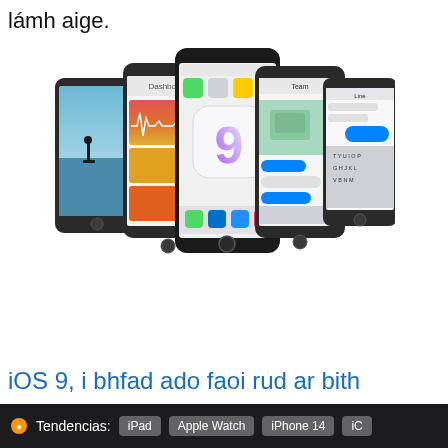lámh aige.
[Figure (photo): iOS 9 promotional image showing multiple iPhones arranged in a fan/stack formation, displaying various iOS 9 screens. The center phone shows the iOS 9 logo (the number '9' in a rounded square with purple gradient). Other phones show Health app, Maps, Messages, and a home screen.]
iOS 9, i bhfad ado faoi rud ar bith
Tendencias: iPad  Apple Watch  iPhone 14  iC